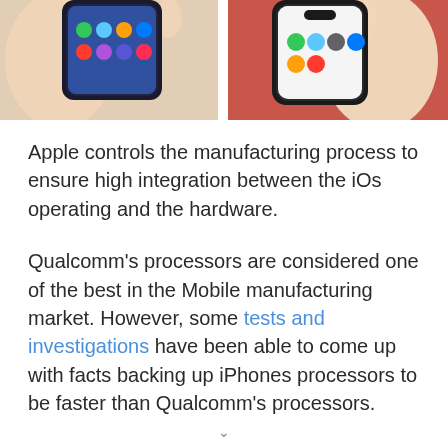[Figure (photo): Two hands holding smartphones side by side — left hand holding an Android phone and right hand holding an iPhone, cropped to show only the top portion of the image]
Apple controls the manufacturing process to ensure high integration between the iOs operating and the hardware.
Qualcomm's processors are considered one of the best in the Mobile manufacturing market. However, some tests and investigations have been able to come up with facts backing up iPhones processors to be faster than Qualcomm's processors.
Whereas Android is open source and can be